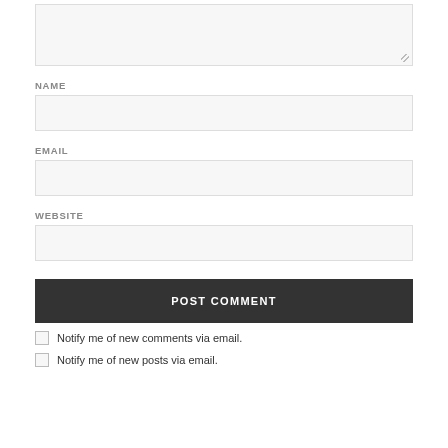[Figure (screenshot): A textarea input box (empty, with resize handle at bottom right)]
NAME
[Figure (screenshot): A text input box for Name (empty)]
EMAIL
[Figure (screenshot): A text input box for Email (empty)]
WEBSITE
[Figure (screenshot): A text input box for Website (empty)]
[Figure (screenshot): POST COMMENT button (dark background, white uppercase text)]
Notify me of new comments via email.
Notify me of new posts via email.